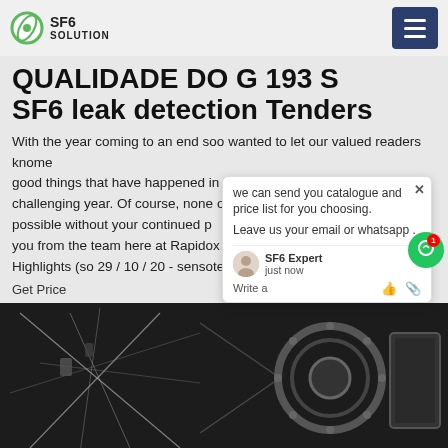SF6 SOLUTION
QUALIDADE DO G 193 S SF6 leak detection Tenders
With the year coming to an end soo wanted to let our valued readers kno good things that have happened in a challenging year. Of course, none o possible without your continued p you from the team here at Rapidox Highlights (so 29 / 10 / 20 - sensotec
Get Price
[Figure (photo): Industrial equipment photo showing mechanical/electrical components, appears to be SF6 gas insulated switchgear or similar equipment, dark background with metallic components visible]